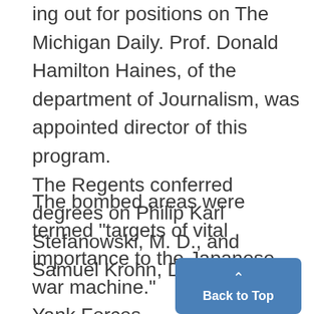ing out for positions on The Michigan Daily. Prof. Donald Hamilton Haines, of the department of Journalism, was appointed director of this program. The Regents conferred degrees on Philip Karl Stefanowski, M. D., and Samuel Krohn, D. D. S.
The bombed areas were termed "targets of vital importance to the Japanese war machine." Yank Forces Slash Deeper